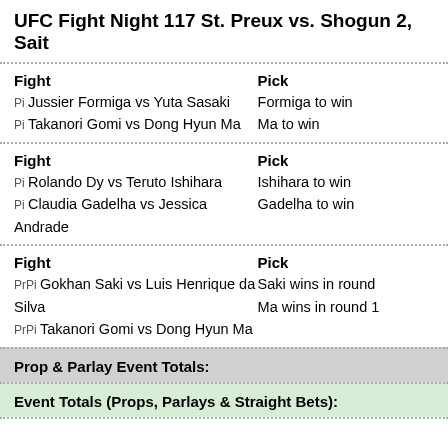UFC Fight Night 117 St. Preux vs. Shogun 2, Sait
| Fight | Pick |
| --- | --- |
| Pi Jussier Formiga vs Yuta Sasaki | Formiga to win |
| Pi Takanori Gomi vs Dong Hyun Ma | Ma to win |
| Fight | Pick |
| --- | --- |
| Pi Rolando Dy vs Teruto Ishihara | Ishihara to win |
| Pi Claudia Gadelha vs Jessica Andrade | Gadelha to win |
| Fight | Pick |
| --- | --- |
| PrPi Gokhan Saki vs Luis Henrique da Silva | Saki wins in round |
| PrPi Takanori Gomi vs Dong Hyun Ma | Ma wins in round 1 |
Prop & Parlay Event Totals:
Event Totals (Props, Parlays & Straight Bets):
UFC Fight Night 116 Rockhold vs. Branch, Pittsb